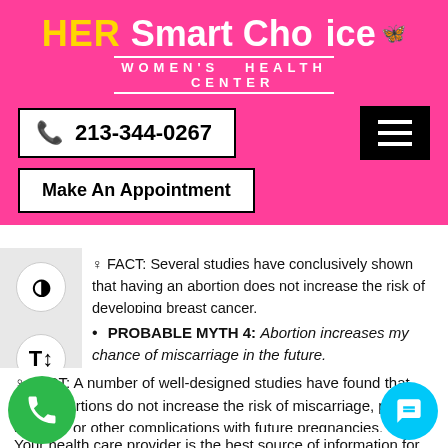[Figure (logo): HER Smart Choice Women's Health Center logo with yellow HER, white Smart Choice text, butterfly icon, on pink background]
213-344-0267
Make An Appointment
FACT: Several studies have conclusively shown that having an abortion does not increase the risk of developing breast cancer.
PROBABLE MYTH 4: Abortion increases my chance of miscarriage in the future.
♀ FACT: A number of well-designed studies have found that early abortions do not increase the risk of miscarriage, preterm delivery, or other complications with future pregnancies.
Your health care provider is the best source of information for questions and concerns related to your medical problem.